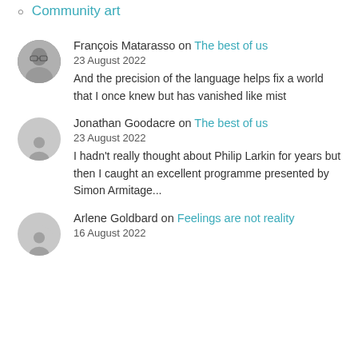Community art
François Matarasso on The best of us
23 August 2022
And the precision of the language helps fix a world that I once knew but has vanished like mist
Jonathan Goodacre on The best of us
23 August 2022
I hadn't really thought about Philip Larkin for years but then I caught an excellent programme presented by Simon Armitage...
Arlene Goldbard on Feelings are not reality
16 August 2022